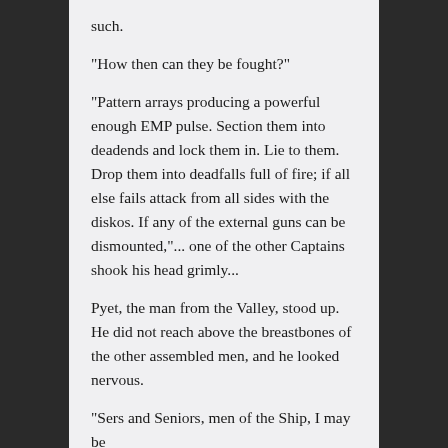such.
"How then can they be fought?"
"Pattern arrays producing a powerful enough EMP pulse. Section them into deadends and lock them in. Lie to them. Drop them into deadfalls full of fire; if all else fails attack from all sides with the diskos. If any of the external guns can be dismounted,"... one of the other Captains shook his head grimly...
Pyet, the man from the Valley, stood up. He did not reach above the breastbones of the other assembled men, and he looked nervous.
"Sers and Seniors, men of the Ship, I may be